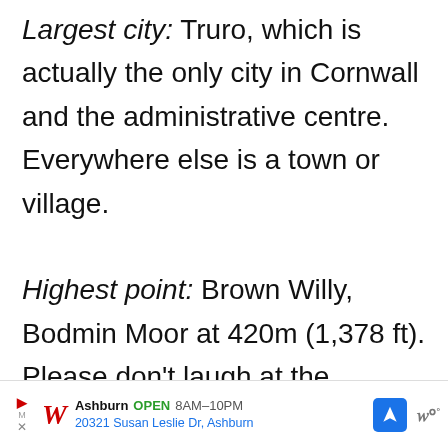Largest city: Truro, which is actually the only city in Cornwall and the administrative centre. Everywhere else is a town or village. Highest point: Brown Willy, Bodmin Moor at 420m (1,378 ft). Please don't laugh at the name... Flag: St Piran's Flag, a white cross on a black background
[Figure (other): Advertisement bar for Walgreens pharmacy in Ashburn. Shows Walgreens cursive logo (red), location 'Ashburn' in bold, 'OPEN' in green, hours '8AM-10PM', address '20321 Susan Leslie Dr, Ashburn' in blue, a blue navigation/directions diamond icon, and a Waze icon.]